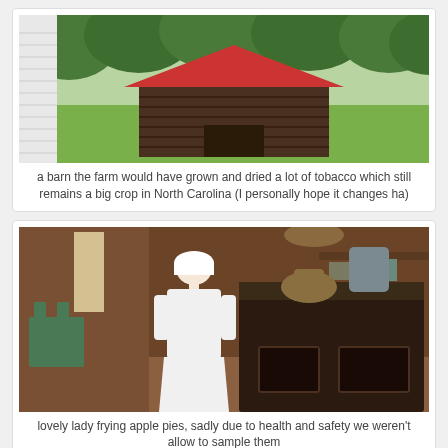[Figure (photo): A small old wooden barn with a red corrugated metal roof sitting in a grassy field surrounded by trees. Part of a white siding building is visible on the left.]
a barn the farm would have grown and dried a lot of tobacco which still remains a big crop in North Carolina (I personally hope it changes ha)
[Figure (photo): A woman dressed in period costume (white dress and white bonnet) standing next to a large antique cast-iron wood-burning stove with pots on it, inside a historic farmhouse kitchen.]
lovely lady frying apple pies, sadly due to health and safety we weren't allow to sample them